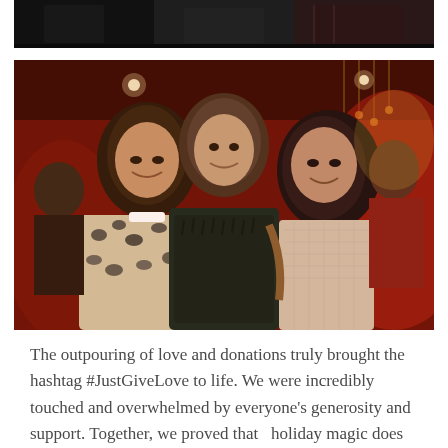[Figure (photo): Partial top photo showing people at an event, cropped at the top of the page]
[Figure (photo): Three women smiling together at an indoor event with warm red/amber lighting and holiday decorations in the background]
The outpouring of love and donations truly brought the hashtag #JustGiveLove to life. We were incredibly touched and overwhelmed by everyone's generosity and support. Together, we proved that  holiday magic does exist.